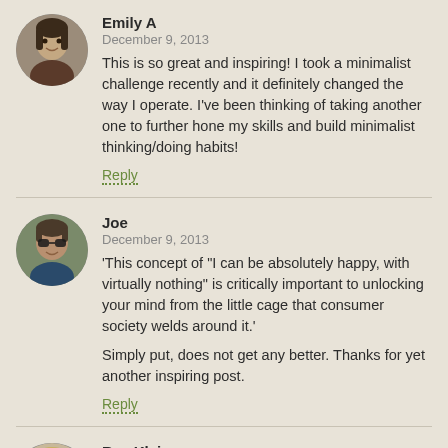[Figure (photo): Circular avatar photo of Emily A, a woman with dark hair]
Emily A
December 9, 2013
This is so great and inspiring! I took a minimalist challenge recently and it definitely changed the way I operate. I've been thinking of taking another one to further hone my skills and build minimalist thinking/doing habits!
Reply
[Figure (photo): Circular avatar photo of Joe, a man wearing sunglasses]
Joe
December 9, 2013
'This concept of "I can be absolutely happy, with virtually nothing" is critically important to unlocking your mind from the little cage that consumer society welds around it.'
Simply put, does not get any better. Thanks for yet another inspiring post.
Reply
[Figure (photo): Circular avatar photo of Ree Klein, a woman with light hair]
Ree Klein
December 9, 2013